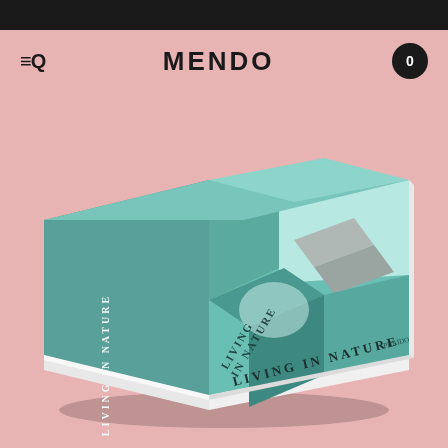MENDO — navigation bar with menu icon, logo MENDO, and cart showing 0
[Figure (photo): A book titled 'Living in Nature' published by Phaidon, shown in a 3D perspective/isometric view on a pink background. The book cover features a teal/mint colored photograph of a house surrounded by lush trees and foliage. The book spine and front cover show the title 'LIVING IN NATURE' in serif letters. The book appears to be a large format hardcover coffee table book.]